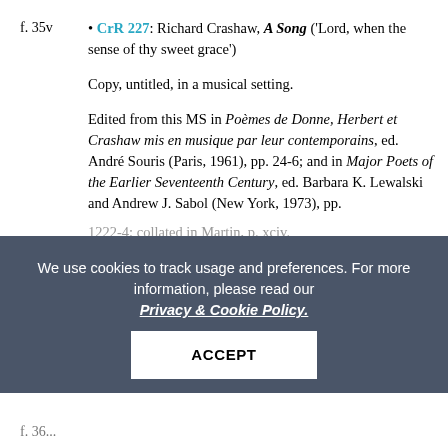f. 35v  • CrR 227: Richard Crashaw, A Song ('Lord, when the sense of thy sweet grace')
Copy, untitled, in a musical setting.
Edited from this MS in Poèmes de Donne, Herbert et Crashaw mis en musique par leur contemporains, ed. André Souris (Paris, 1961), pp. 24-6; and in Major Poets of the Earlier Seventeenth Century, ed. Barbara K. Lewalski and Andrew J. Sabol (New York, 1973), pp. 1222-4; collated in Martin, p. xciv.
First published, untitled, in Playford, The Temple, 2nd edition (London, 1848); Cantnen Deo Nostro (Paris, 1652), p. 77.
[Figure (other): Cookie consent banner overlay with dark background, privacy policy link, and ACCEPT button]
f. 36...